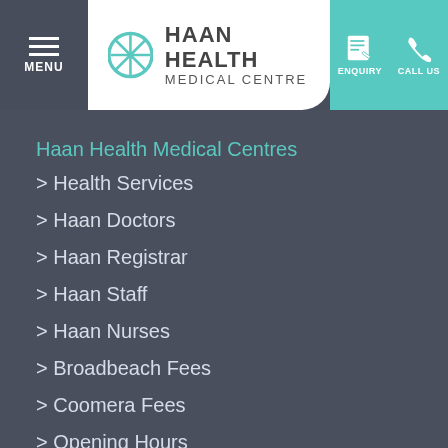[Figure (logo): Haan Health Medical Centre logo with teal circular icon]
Haan Health Medical Centres
> Health Services
> Haan Doctors
> Haan Registrar
> Haan Staff
> Haan Nurses
> Broadbeach Fees
> Coomera Fees
> Opening Hours
> Gallery
> Practice Information Sheet
> New Patient Form
> Patient Feedback
New Patient Form
Haan Skin
> Haan Skin Services